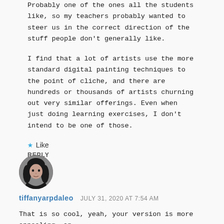Probably one of the ones all the students like, so my teachers probably wanted to steer us in the correct direction of the stuff people don't generally like.
I find that a lot of artists use the more standard digital painting techniques to the point of cliche, and there are hundreds or thousands of artists churning out very similar offerings. Even when just doing learning exercises, I don't intend to be one of those.
★ Like
REPLY
[Figure (photo): Black and white circular avatar photo of a person with long dark hair]
tiffanyarpdaleo   JULY 31, 2020 AT 7:54 AM
That is so cool, yeah, your version is more appealing, an